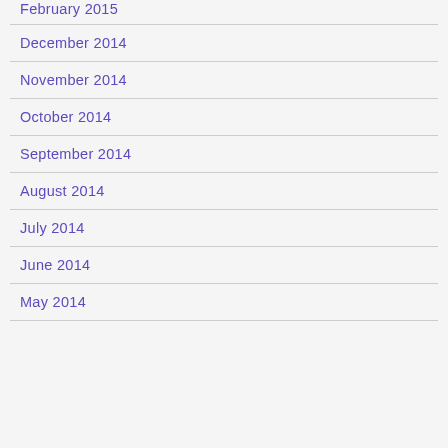February 2015
December 2014
November 2014
October 2014
September 2014
August 2014
July 2014
June 2014
May 2014